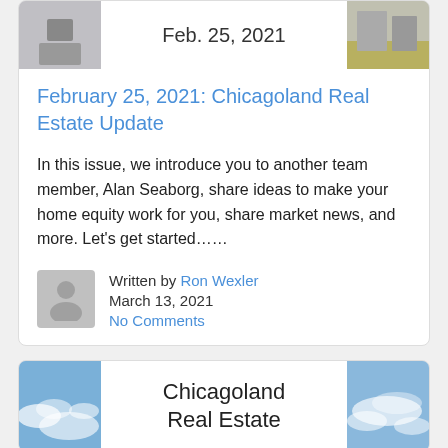[Figure (photo): Thumbnail photos on left and right with date 'Feb. 25, 2021' in center]
February 25, 2021: Chicagoland Real Estate Update
In this issue, we introduce you to another team member, Alan Seaborg, share ideas to make your home equity work for you, share market news, and more. Let's get started……
Written by Ron Wexler
March 13, 2021
No Comments
[Figure (photo): Thumbnail photos on left and right of sky with clouds, with text 'Chicagoland Real Estate' in center]